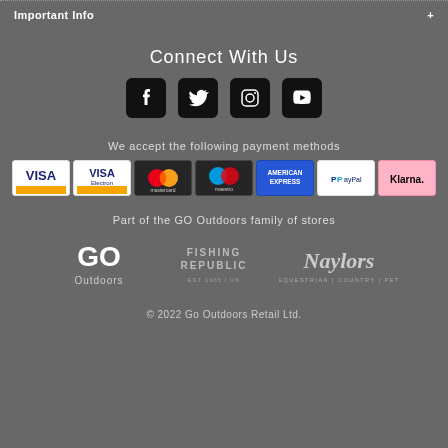Important Info
Connect With Us
[Figure (infographic): Social media icons: Facebook, Twitter, Instagram, YouTube]
We accept the following payment methods
[Figure (infographic): Payment method icons: Visa, Visa Electron, Mastercard, Maestro, American Express, PayPal, Klarna]
Part of the GO Outdoors family of stores
[Figure (logo): GO Outdoors, Fishing Republic, Naylors logos]
© 2022 Go Outdoors Retail Ltd.